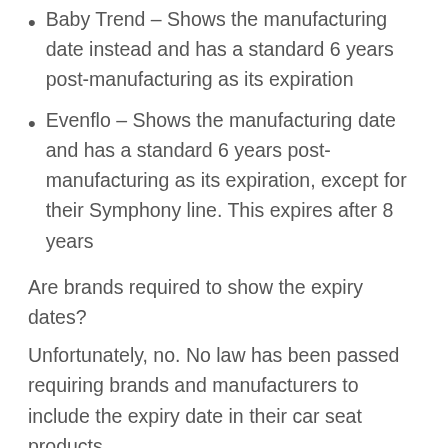Baby Trend – Shows the manufacturing date instead and has a standard 6 years post-manufacturing as its expiration
Evenflo – Shows the manufacturing date and has a standard 6 years post-manufacturing as its expiration, except for their Symphony line. This expires after 8 years
Are brands required to show the expiry dates?
Unfortunately, no. No law has been passed requiring brands and manufacturers to include the expiry date in their car seat products.
Thankfully, however, many brands care for their customers and make sure they know when the